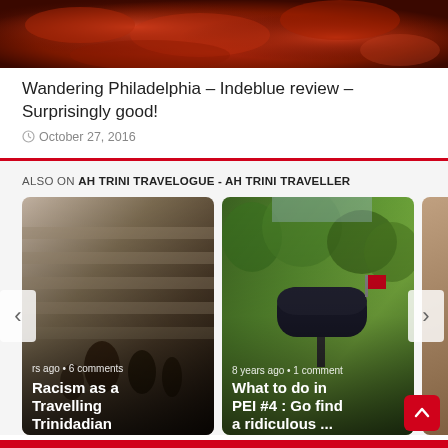[Figure (photo): Close-up photo of cooked food with reddish-brown sauce, partial view at top of page]
Wandering Philadelphia – Indeblue review – Surprisingly good!
October 27, 2016
ALSO ON AH TRINI TRAVELOGUE - AH TRINI TRAVELLER
[Figure (photo): Card image showing people in front of a stone wall – article: Racism as a Travelling Trinidadian, 8 years ago, 6 comments]
[Figure (photo): Card image showing a mailbox with red flag – article: What to do in PEI #4 : Go find a ridiculous ..., 8 years ago, 1 comment]